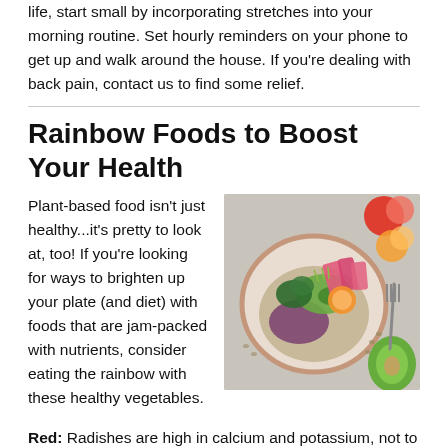life, start small by incorporating stretches into your morning routine. Set hourly reminders on your phone to get up and walk around the house. If you're dealing with back pain, contact us to find some relief.
Rainbow Foods to Boost Your Health
[Figure (photo): Colorful plant-based food bowl with avocado, pink radishes, greens, grains, orange slices, and a fork beside it.]
Plant-based food isn't just healthy...it's pretty to look at, too! If you're looking for ways to brighten up your plate (and diet) with foods that are jam-packed with nutrients, consider eating the rainbow with these healthy vegetables.
Red: Radishes are high in calcium and potassium, not to mention rich in antioxidants.